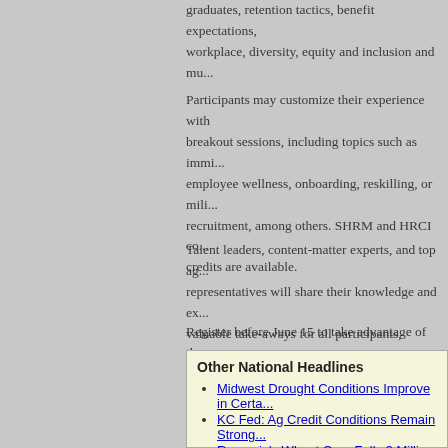graduates, retention tactics, benefit expectations, workplace, diversity, equity and inclusion and mu...
Participants may customize their experience with breakout sessions, including topics such as immi... employee wellness, onboarding, reskilling, or mili... recruitment, among others. SHRM and HRCI co... credits are available.
Talent leaders, content-matter experts, and top ag... representatives will share their knowledge and ex... valuable take-aways for all participants, including... human resource professionals, talent acquisition s... advisors, and educational and association repres...
Register before June 15 to take advantage of the... more information, visit www.agcareers.com/hr-rou agcareers@agcareers.com.
Other National Headlines
Midwest Drought Conditions Improve in Certa...
KC Fed: Ag Credit Conditions Remain Strong...
Romania's Wheat Crop Falls 9 Million Tonnes...
Moscow Claims to be 'Committed' to Ukraine...
Soy Export Council Highlights Sustainability,...
Appeals Court Rules AFBF Can Appeal Gray...
Farm Forward Sues Whole Foods for Deceivi...